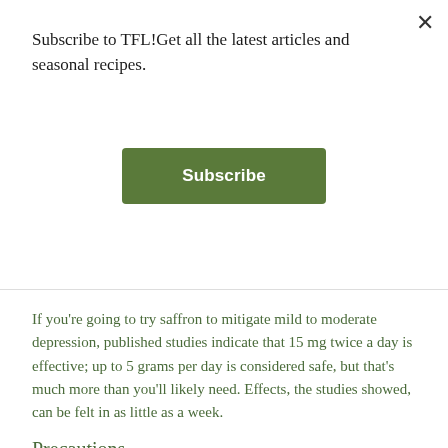Subscribe to TFL!Get all the latest articles and seasonal recipes.
[Figure (other): Green Subscribe button]
If you're going to try saffron to mitigate mild to moderate depression, published studies indicate that 15 mg twice a day is effective; up to 5 grams per day is considered safe, but that's much more than you'll likely need. Effects, the studies showed, can be felt in as little as a week.
Precautions
Researchers warned that those who take anti-coagulants or people with blood coagulation disorders should exercise caution in using saffron.
▸ Click to See Our Sources